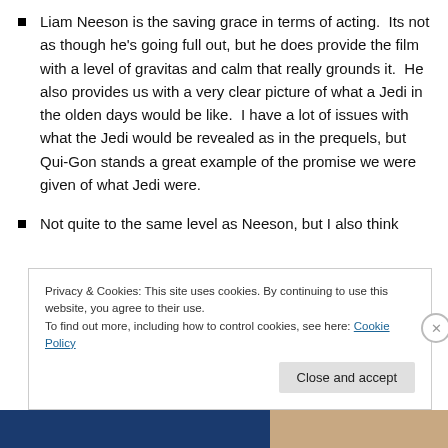Liam Neeson is the saving grace in terms of acting.  Its not as though he's going full out, but he does provide the film with a level of gravitas and calm that really grounds it.  He also provides us with a very clear picture of what a Jedi in the olden days would be like.  I have a lot of issues with what the Jedi would be revealed as in the prequels, but Qui-Gon stands a great example of the promise we were given of what Jedi were.
Not quite to the same level as Neeson, but I also think
Privacy & Cookies: This site uses cookies. By continuing to use this website, you agree to their use.
To find out more, including how to control cookies, see here: Cookie Policy